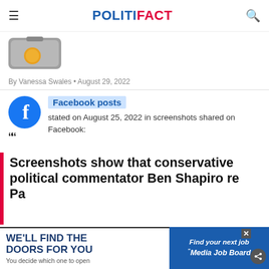POLITIFACT
[Figure (screenshot): Partially visible rating image — grey box with orange circle dot, suggesting a 'Half True' or similar PolitiFact rating meter graphic]
By Vanessa Swales • August 29, 2022
Facebook posts stated on August 25, 2022 in screenshots shared on Facebook:
Screenshots show that conservative political commentator Ben Shapiro re... Pa...
[Figure (screenshot): Advertisement banner: 'WE'LL FIND THE DOORS FOR YOU – You decide which one to open' on left; 'Find your next job – Media Job Board' on right blue panel]